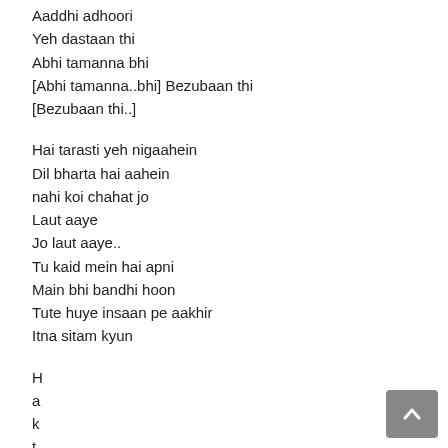Aaddhi adhoori
Yeh dastaan thi
Abhi tamanna bhi
[Abhi tamanna..bhi] Bezubaan thi
[Bezubaan thi..]
Hai tarasti yeh nigaahein
Dil bharta hai aahein
nahi koi chahat jo
Laut aaye
Jo laut aaye..
Tu kaid mein hai apni
Main bhi bandhi hoon
Tute huye insaan pe aakhir
Itna sitam kyun
H
a
k
t
h